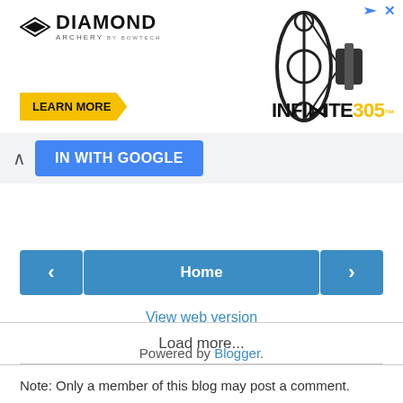[Figure (screenshot): Diamond Archery advertisement banner featuring the INFINITE 305 bow, with a yellow LEARN MORE button, the Diamond Archery logo with arrow icon, an SVG compound bow image on the right, and an ad close button (play icon and X) in the top right corner.]
IN WITH GOOGLE
Load more...
Note: Only a member of this blog may post a comment.
Home
View web version
Powered by Blogger.